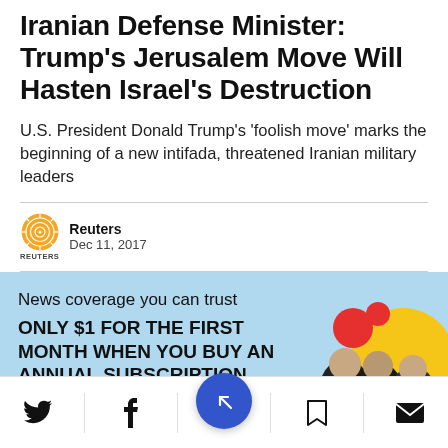Iranian Defense Minister: Trump's Jerusalem Move Will Hasten Israel's Destruction
U.S. President Donald Trump's 'foolish move' marks the beginning of a new intifada, threatened Iranian military leaders
Reuters
Dec 11, 2017
[Figure (infographic): Haaretz subscription promotion banner with light blue background. Text reads: 'News coverage you can trust' and 'ONLY $1 FOR THE FIRST MONTH WHEN YOU BUY AN ANNUAL SUBSCRIPTION'. Features illustration of news figures and colored circles (red, yellow).]
[Figure (infographic): Bottom navigation bar with Twitter, Facebook, bookmark/Haaretz app (blue circle with arrow icon), bookmark, and email icons.]